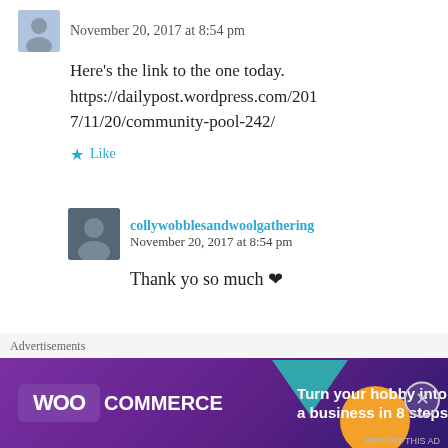November 20, 2017 at 8:54 pm
Here’s the link to the one today. https://dailypost.wordpress.com/2017/11/20/community-pool-242/
Like
collywobblesandwoolgathering
November 20, 2017 at 8:54 pm
Thank yo so much ❤
Advertisements
[Figure (other): WooCommerce advertisement banner: 'Turn your hobby into a business in 8 steps']